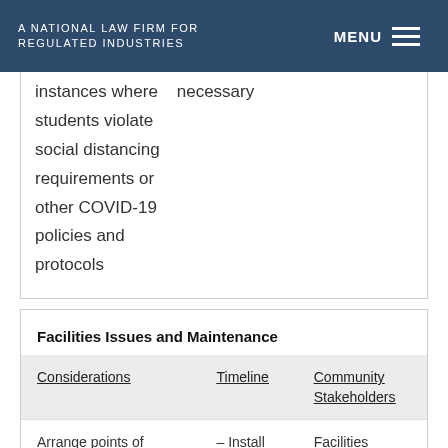A NATIONAL LAW FIRM FOR REGULATED INDUSTRIES | MENU
instances where necessary students violate social distancing requirements or other COVID-19 policies and protocols
Facilities Issues and Maintenance
| Considerations | Timeline | Community Stakeholders |
| --- | --- | --- |
| Arrange points of | – Install | Facilities |